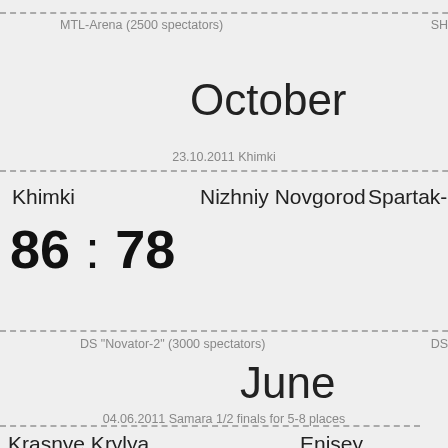MTL-Arena (2500 spectators)
October
23.10.2011 Khimki
Khimki    Nizhniy Novgorod    Spartak-Pri...
86 : 78
DS "Novator-2" (3000 spectators)
June
04.06.2011 Samara 1/2 finals for 5-8 places
Krasnye Krylya    Enisey
84 : 67